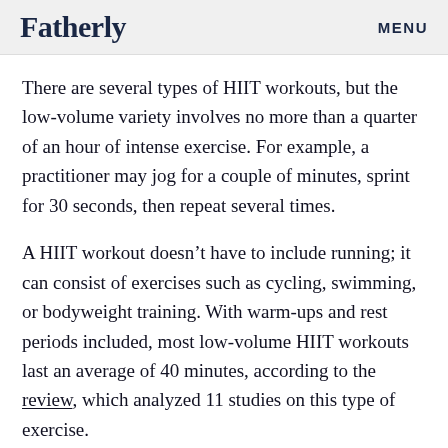Fatherly   MENU
There are several types of HIIT workouts, but the low-volume variety involves no more than a quarter of an hour of intense exercise. For example, a practitioner may jog for a couple of minutes, sprint for 30 seconds, then repeat several times.
A HIIT workout doesn’t have to include running; it can consist of exercises such as cycling, swimming, or bodyweight training. With warm-ups and rest periods included, most low-volume HIIT workouts last an average of 40 minutes, according to the review, which analyzed 11 studies on this type of exercise.